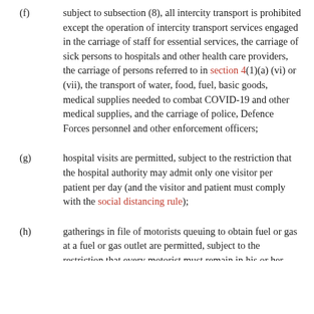(f) subject to subsection (8), all intercity transport is prohibited except the operation of intercity transport services engaged in the carriage of staff for essential services, the carriage of sick persons to hospitals and other health care providers, the carriage of persons referred to in section 4(1)(a) (vi) or (vii), the transport of water, food, fuel, basic goods, medical supplies needed to combat COVID-19 and other medical supplies, and the carriage of police, Defence Forces personnel and other enforcement officers;
(g) hospital visits are permitted, subject to the restriction that the hospital authority may admit only one visitor per patient per day (and the visitor and patient must comply with the social distancing rule);
(h) gatherings in file of motorists queuing to obtain fuel or gas at a fuel or gas outlet are permitted, subject to the restriction that every motorist must remain in his or her vehicle...